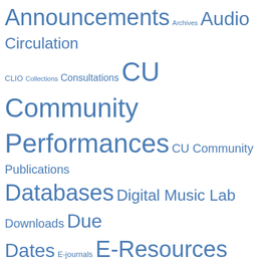[Figure (infographic): Tag cloud with library/music library related categories in various font sizes, all in blue. Terms include: Announcements, Archives, Audio, Circulation, CLIO, Collections, Consultations, CU Community Performances, CU Community Publications, Databases, Digital Music Lab, Downloads, Due Dates, E-journals, E-Resources, Events, Faculty, Features, Free, Fun, Hours, Jazz, Libraries-Survey-2009, Music Humanities, Music Technology, New Acquisitions, news, Policies, Popular Music, Questions, Recordings, Recordings by Columbia Community, Reference, Reference Resources, Resources, Scores-online, Searching, Service Alerts, Staff, Suggested Reading, Tips & Tutorials, Trainings, Video, Workshops, World Music]